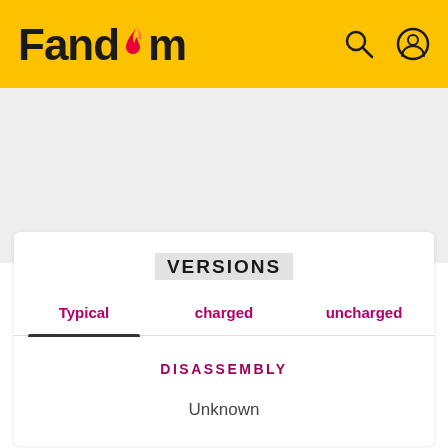Fandom
VERSIONS
Typical  charged  uncharged
DISASSEMBLY
Unknown